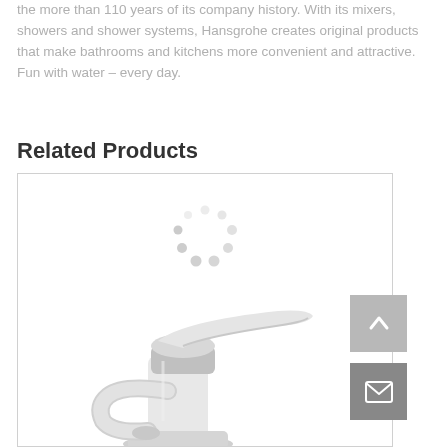the more than 110 years of its company history. With its mixers, showers and shower systems, Hansgrohe creates original products that make bathrooms and kitchens more convenient and attractive. Fun with water – every day.
Related Products
[Figure (photo): A white and chrome bathroom basin faucet/tap (single lever mixer) by Hansgrohe, shown against a white background inside a product card box. Above the faucet image is a loading spinner animation (circle of dots). To the right of the product card are two buttons: a grey scroll-to-top arrow button and a darker grey envelope/email button.]